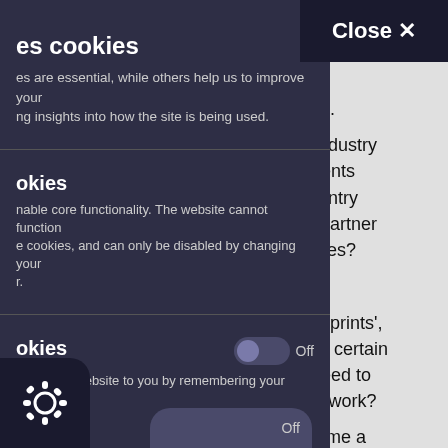nversely, recruiters nses (which is rare ve far away. ception of 'far'. recruitment industry Will these events they reduce entry al rates with partner train companies?
onal level
nisational footprints', eople within a certain candidates need to port' to get to work? ay even become a to choose between
[Figure (screenshot): Cookie consent modal overlay on a webpage. The modal has a dark navy/purple background and shows cookie settings. It contains sections for essential cookies and optional cookies with a toggle switch set to 'Off'. A 'Close X' button appears at the top. A Consent cookie logo (gear icon) appears at the bottom left.]